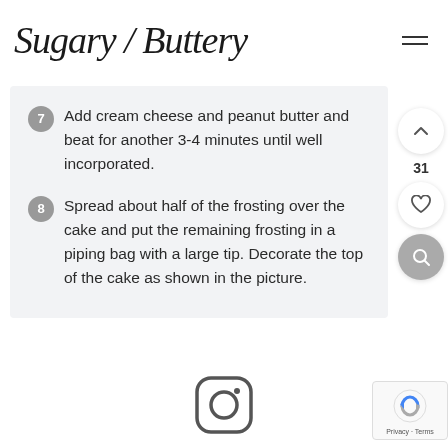Sugary / Buttery
Add cream cheese and peanut butter and beat for another 3-4 minutes until well incorporated.
Spread about half of the frosting over the cake and put the remaining frosting in a piping bag with a large tip. Decorate the top of the cake as shown in the picture.
[Figure (logo): Instagram icon (camera outline with circle and dot)]
[Figure (other): reCAPTCHA badge with Privacy and Terms links]